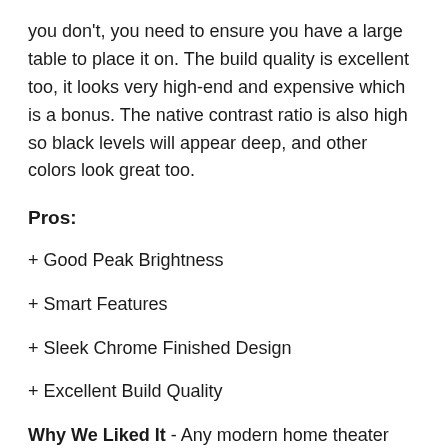you don't, you need to ensure you have a large table to place it on. The build quality is excellent too, it looks very high-end and expensive which is a bonus. The native contrast ratio is also high so black levels will appear deep, and other colors look great too.
Pros:
+ Good Peak Brightness
+ Smart Features
+ Sleek Chrome Finished Design
+ Excellent Build Quality
Why We Liked It - Any modern home theater can look even